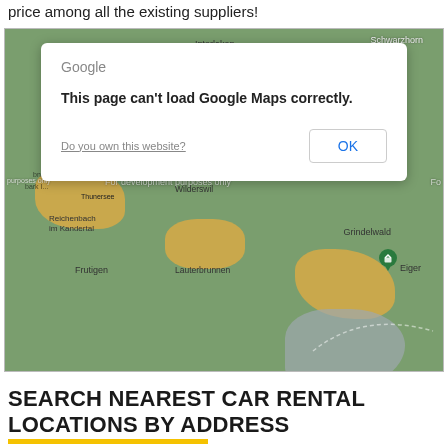price among all the existing suppliers!
[Figure (screenshot): Google Maps screenshot showing Swiss Alps region (Interlaken, Spiez, Grindelwald, Lauterbrunnen, Eiger, Frutigen, Niesen, Reichenbach im Kandertal) with an error dialog overlay: 'This page can't load Google Maps correctly. Do you own this website? OK']
SEARCH NEAREST CAR RENTAL LOCATIONS BY ADDRESS